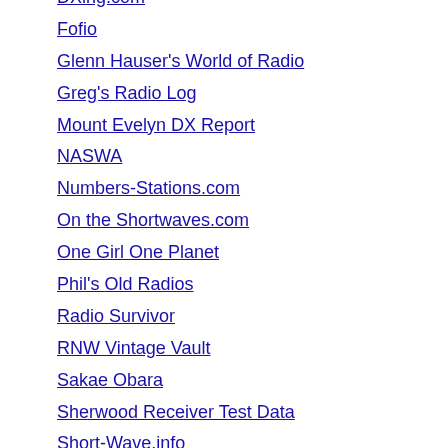DXing.com
Fofio
Glenn Hauser's World of Radio
Greg's Radio Log
Mount Evelyn DX Report
NASWA
Numbers-Stations.com
On the Shortwaves.com
One Girl One Planet
Phil's Old Radios
Radio Survivor
RNW Vintage Vault
Sakae Obara
Sherwood Receiver Test Data
Short-Wave.info
Shortwave Bulletin (Sweden)
Shortwave DX Blog
Shortwave Radio Index
Shortwaveology